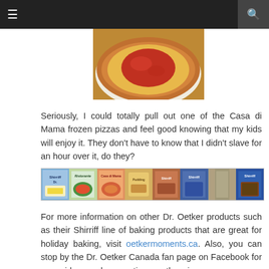≡  [navigation]  [search]
[Figure (photo): Partial view of a pizza on a white plate, showing tomato sauce and cheese on a golden crust, placed on a wooden surface.]
Seriously, I could totally pull out one of the Casa di Mama frozen pizzas and feel good knowing that my kids will enjoy it. They don't have to know that I didn't slave for an hour over it, do they?
[Figure (photo): A horizontal strip of Dr. Oetker product images including Shirriff pie filling, Ristorante pizza, Casa di Mama pizza, pudding mixes, Shirriff products, and chocolate dessert products.]
For more information on other Dr. Oetker products such as their Shirriff line of baking products that are great for holiday baking, visit oetkermoments.ca. Also, you can stop by the Dr. Oetker Canada fan page on Facebook for menu ideas and suggestions on throwing an